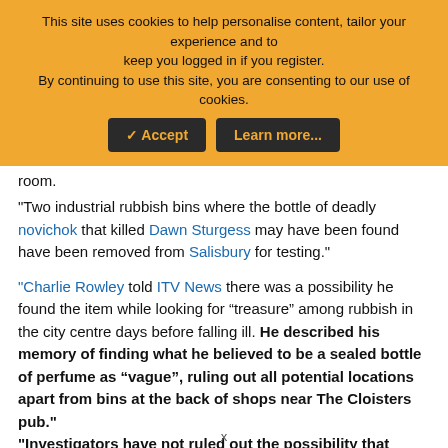[Figure (screenshot): Cookie consent banner with orange background, text about cookies, and two dark buttons: Accept and Learn more...]
room.
"Two industrial rubbish bins where the bottle of deadly novichok that killed Dawn Sturgess may have been found have been removed from Salisbury for testing."
"Charlie Rowley told ITV News there was a possibility he found the item while looking for “treasure” among rubbish in the city centre days before falling ill. He described his memory of finding what he believed to be a sealed bottle of perfume as “vague”, ruling out all potential locations apart from bins at the back of shops near The Cloisters pub." "Investigators have not ruled out the possibility that another bottle of novichok may have been dumped by the
x